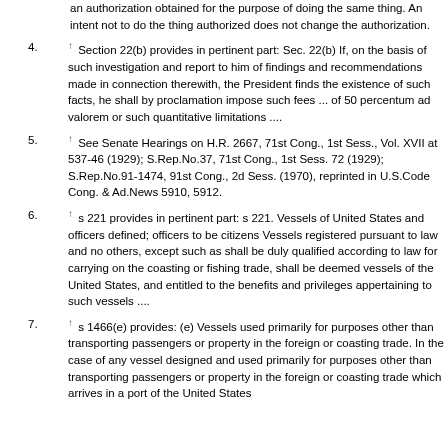an authorization obtained for the purpose of doing the same thing. An intent not to do the thing authorized does not change the authorization.
4. ↑ Section 22(b) provides in pertinent part: Sec. 22(b) If, on the basis of such investigation and report to him of findings and recommendations made in connection therewith, the President finds the existence of such facts, he shall by proclamation impose such fees ... of 50 percentum ad valorem or such quantitative limitations ....
5. ↑ See Senate Hearings on H.R. 2667, 71st Cong., 1st Sess., Vol. XVII at 537-46 (1929); S.Rep.No.37, 71st Cong., 1st Sess. 72 (1929); S.Rep.No.91-1474, 91st Cong., 2d Sess. (1970), reprinted in U.S.Code Cong. & Ad.News 5910, 5912.
6. ↑ s 221 provides in pertinent part: s 221. Vessels of United States and officers defined; officers to be citizens Vessels registered pursuant to law and no others, except such as shall be duly qualified according to law for carrying on the coasting or fishing trade, shall be deemed vessels of the United States, and entitled to the benefits and privileges appertaining to such vessels ....
7. ↑ s 1466(e) provides: (e) Vessels used primarily for purposes other than transporting passengers or property in the foreign or coasting trade. In the case of any vessel designed and used primarily for purposes other than transporting passengers or property in the foreign or coasting trade which arrives in a port of the United States